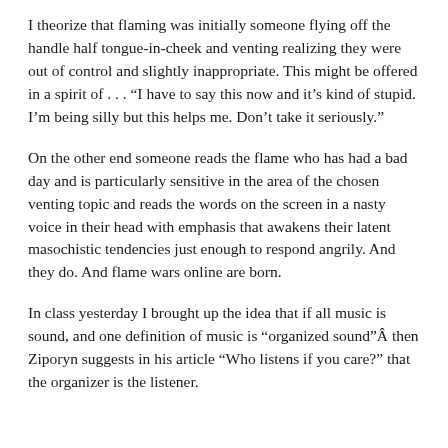I theorize that flaming was initially someone flying off the handle half tongue-in-cheek and venting realizing they were out of control and slightly inappropriate. This might be offered in a spirit of . . . “I have to say this now and it’s kind of stupid. I’m being silly but this helps me. Don’t take it seriously.”
On the other end someone reads the flame who has had a bad day and is particularly sensitive in the area of the chosen venting topic and reads the words on the screen in a nasty voice in their head with emphasis that awakens their latent masochistic tendencies just enough to respond angrily. And they do. And flame wars online are born.
In class yesterday I brought up the idea that if all music is sound, and one definition of music is “organized sound”Â then Ziporyn suggests in his article “Who listens if you care?” that the organizer is the listener.